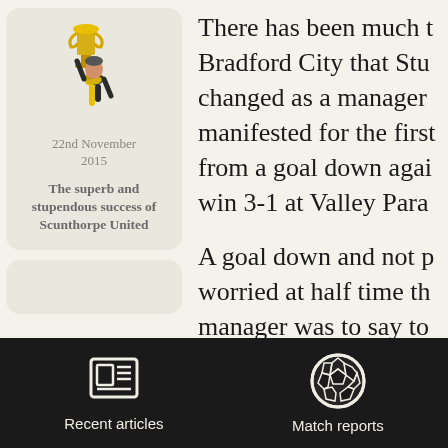[Figure (illustration): Card with illustration of person holding trophy wearing yellow and black scarf, date '22nd November 2015', bold title 'The superb and stupendous success of Scunthorpe United']
There has been much t Bradford City that Stu changed as a manager manifested for the first from a goal down agai win 3-1 at Valley Para
A goal down and not p worried at half time th manager was to say to
[Figure (screenshot): Mobile app bottom navigation bar with 'Recent articles' (newspaper icon) and 'Match reports' (football/soccer ball icon) on dark background]